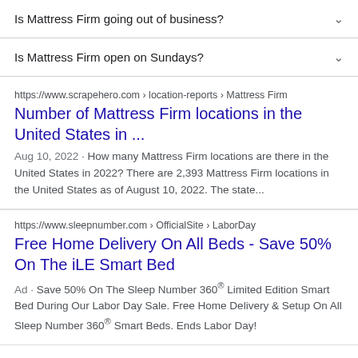Is Mattress Firm going out of business?
Is Mattress Firm open on Sundays?
https://www.scrapehero.com › location-reports › Mattress Firm
Number of Mattress Firm locations in the United States in ...
Aug 10, 2022 · How many Mattress Firm locations are there in the United States in 2022? There are 2,393 Mattress Firm locations in the United States as of August 10, 2022. The state...
https://www.sleepnumber.com › OfficialSite › LaborDay
Free Home Delivery On All Beds - Save 50% On The iLE Smart Bed
Ad · Save 50% On The Sleep Number 360® Limited Edition Smart Bed During Our Labor Day Sale. Free Home Delivery & Setup On All Sleep Number 360® Smart Beds. Ends Labor Day!